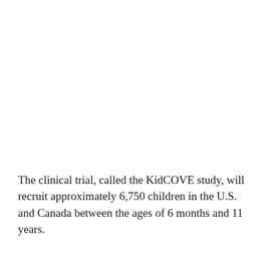The clinical trial, called the KidCOVE study, will recruit approximately 6,750 children in the U.S. and Canada between the ages of 6 months and 11 years.